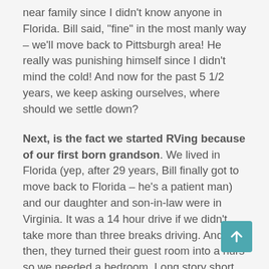near family since I didn't know anyone in Florida. Bill said, "fine" in the most manly way – we'll move back to Pittsburgh area! He really was punishing himself since I didn't mind the cold! And now for the past 5 1/2 years, we keep asking ourselves, where should we settle down?
Next, is the fact we started RVing because of our first born grandson. We lived in Florida (yep, after 29 years, Bill finally got to move back to Florida – he's a patient man) and our daughter and son-in-law were in Virginia. It was a 14 hour drive if we didn't take more than three breaks driving. And then, they turned their guest room into a nurs so we needed a bedroom. Long story short, the RV idea just seemed a perfect fit. And so we started in